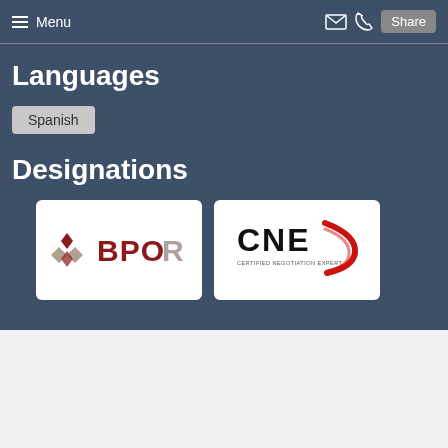Menu | Share
Languages
Spanish
Designations
[Figure (logo): BPOR logo — dark red/maroon diamond cluster icon followed by text 'BPOR' in dark red/grey]
[Figure (logo): CNE logo — bold black letters 'CNE' with red swoosh/arc to the right and small tagline text below]